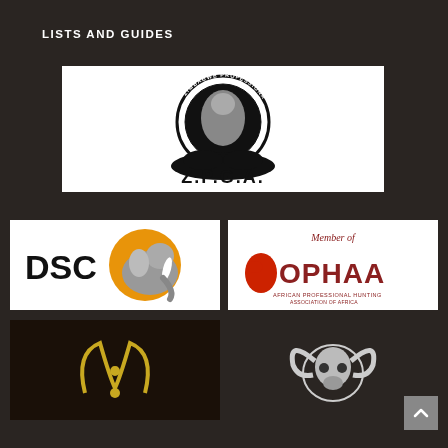LISTS AND GUIDES
[Figure (logo): Z.P.G.A. Zimbabwe Professional Guides Association logo — circular emblem with leopard, text around ring, large Z.P.G.A. lettering below, black and white on white background]
[Figure (logo): DSC logo — elephant silhouette with orange sun/circle background, bold DSC text, black and white on white background]
[Figure (logo): OPHAA Member of logo — Africa map icon in red, OPHAA text in dark red/maroon, subtitle text below, on white background]
[Figure (logo): Bottom left logo — appears to be dark/black background with animal horns or similar symbol in gold/yellow]
[Figure (logo): Bottom right logo — dark background with ram or bighorn sheep skull/horns illustration in white/grey]